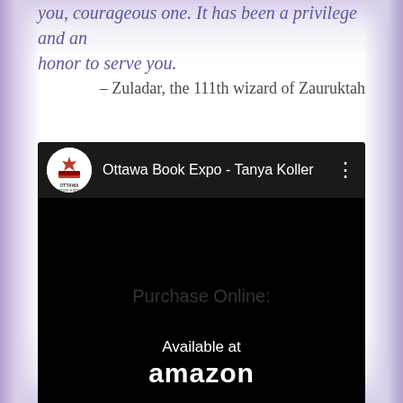you, courageous one. It has been a privilege and an honor to serve you.
– Zuladar, the 111th wizard of Zauruktah
[Figure (screenshot): A video player thumbnail showing Ottawa Book Expo - Tanya Koller, with the Ottawa Book Expo logo (circular white with red maple leaf and book icon), the channel name in white text, and a three-dot menu icon on a dark/black background.]
Purchase Online:
[Figure (logo): Amazon badge with 'Available at' text above 'amazon' in white text on a black rounded-rectangle background.]